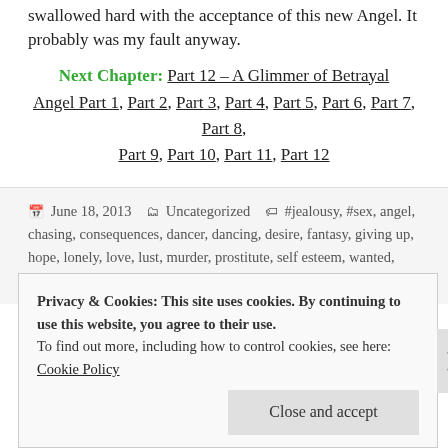swallowed hard with the acceptance of this new Angel. It probably was my fault anyway.
Next Chapter: Part 12 – A Glimmer of Betrayal
Angel Part 1, Part 2, Part 3, Part 4, Part 5, Part 6, Part 7, Part 8, Part 9, Part 10, Part 11, Part 12
June 18, 2013  Uncategorized  #jealousy, #sex, angel, chasing, consequences, dancer, dancing, desire, fantasy, giving up, hope, lonely, love, lust, murder, prostitute, self esteem, wanted, young woman with old man  Leave a comment
Privacy & Cookies: This site uses cookies. By continuing to use this website, you agree to their use.
To find out more, including how to control cookies, see here: Cookie Policy